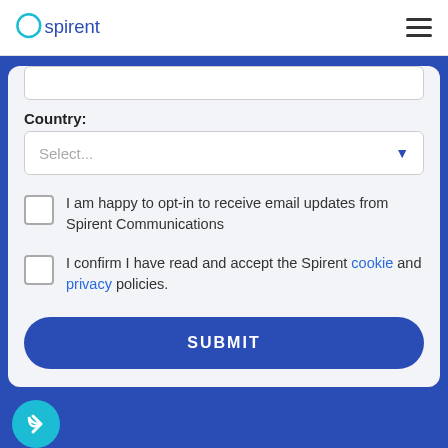[Figure (logo): Spirent logo with teal circle and blue text]
Country:
Select...
I am happy to opt-in to receive email updates from Spirent Communications
I confirm I have read and accept the Spirent cookie and privacy policies.
SUBMIT